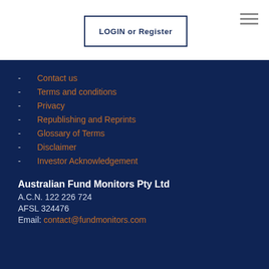LOGIN or Register
- Contact us
- Terms and conditions
- Privacy
- Republishing and Reprints
- Glossary of Terms
- Disclaimer
- Investor Acknowledgement
Australian Fund Monitors Pty Ltd
A.C.N. 122 226 724
AFSL 324476
Email: contact@fundmonitors.com